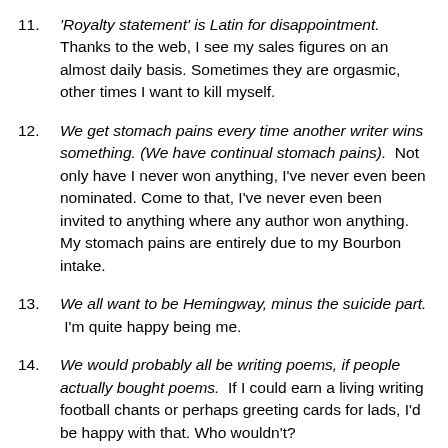11.  'Royalty statement' is Latin for disappointment.  Thanks to the web, I see my sales figures on an almost daily basis. Sometimes they are orgasmic, other times I want to kill myself.
12.   We get stomach pains every time another writer wins something. (We have continual stomach pains).  Not only have I never won anything, I've never even been nominated. Come to that, I've never even been invited to anything where any author won anything. My stomach pains are entirely due to my Bourbon intake.
13.   We all want to be Hemingway, minus the suicide part.  I'm quite happy being me.
14.   We would probably all be writing poems, if people actually bought poems.   If I could earn a living writing football chants or perhaps greeting cards for lads, I'd be happy with that. Who wouldn't?